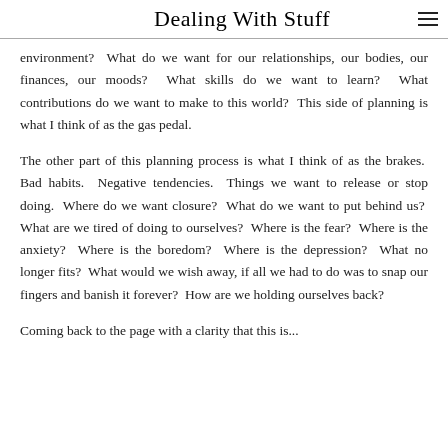Dealing With Stuff
environment?  What do we want for our relationships, our bodies, our finances, our moods?  What skills do we want to learn?  What contributions do we want to make to this world?  This side of planning is what I think of as the gas pedal.
The other part of this planning process is what I think of as the brakes.  Bad habits.  Negative tendencies.  Things we want to release or stop doing.  Where do we want closure?  What do we want to put behind us?  What are we tired of doing to ourselves?  Where is the fear?  Where is the anxiety?  Where is the boredom?  Where is the depression?  What no longer fits?  What would we wish away, if all we had to do was to snap our fingers and banish it forever?  How are we holding ourselves back?
Coming back to the page with a clarity that this is...